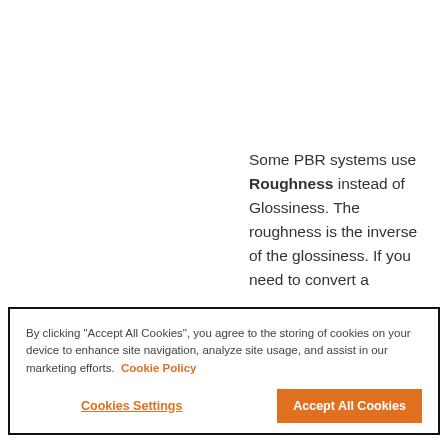[Figure (photo): Dark teal/charcoal colored square image, appears to be a PBR texture or material sample]
Some PBR systems use Roughness instead of Glossiness. The roughness is the inverse of the glossiness. If you need to convert a
By clicking "Accept All Cookies", you agree to the storing of cookies on your device to enhance site navigation, analyze site usage, and assist in our marketing efforts. Cookie Policy
Cookies Settings
Accept All Cookies